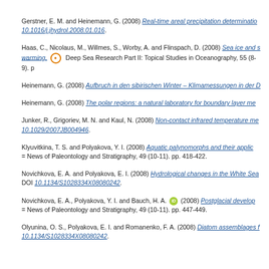Gerstner, E. M. and Heinemann, G. (2008) Real-time areal precipitation determination... DOI 10.1016/j.jhydrol.2008.01.016.
Haas, C., Nicolaus, M., Willmes, S., Worby, A. and Flinspach, D. (2008) Sea ice and s... warming. [OA] Deep Sea Research Part II: Topical Studies in Oceanography, 55 (8-9). p...
Heinemann, G. (2008) Aufbruch in den sibirischen Winter – Klimamessungen in der D...
Heinemann, G. (2008) The polar regions: a natural laboratory for boundary layer me...
Junker, R., Grigoriev, M. N. and Kaul, N. (2008) Non-contact infrared temperature me... DOI 10.1029/2007JB004946.
Klyuvitkina, T. S. and Polyakova, Y. I. (2008) Aquatic palynomorphs and their applic... = News of Paleontology and Stratigraphy, 49 (10-11). pp. 418-422.
Novichkova, E. A. and Polyakova, E. I. (2008) Hydrological changes in the White Sea... DOI 10.1134/S1028334X08080242.
Novichkova, E. A., Polyakova, Y. I. and Bauch, H. A. [ORCID] (2008) Postglacial develop... = News of Paleontology and Stratigraphy, 49 (10-11). pp. 447-449.
Olyunina, O. S., Polyakova, E. I. and Romanenko, F. A. (2008) Diatom assemblages f... 10.1134/S1028334X08080242.